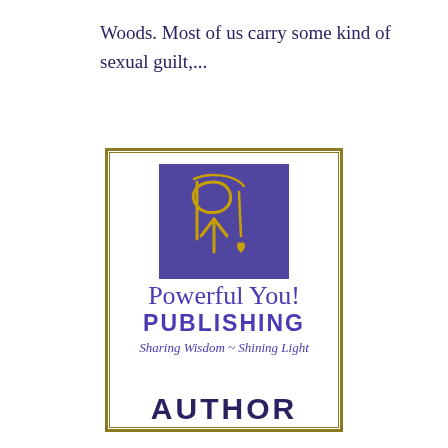Woods. Most of us carry some kind of sexual guilt,...
[Figure (logo): Powerful You! Publishing logo: purple rectangle with gold cursive PY! monogram, publisher name in purple 'Powerful You! PUBLISHING', italic tagline 'Sharing Wisdom ~ Shining Light', and bold dark blue 'AUTHOR' text below, all within a gold double-border rectangle.]